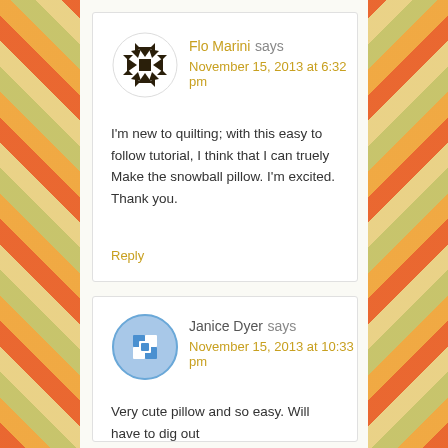Flo Marini says
November 15, 2013 at 6:32 pm
I'm new to quilting; with this easy to follow tutorial, I think that I can truely Make the snowball pillow. I'm excited. Thank you.
Reply
Janice Dyer says
November 15, 2013 at 10:33 pm
Very cute pillow and so easy. Will have to dig out